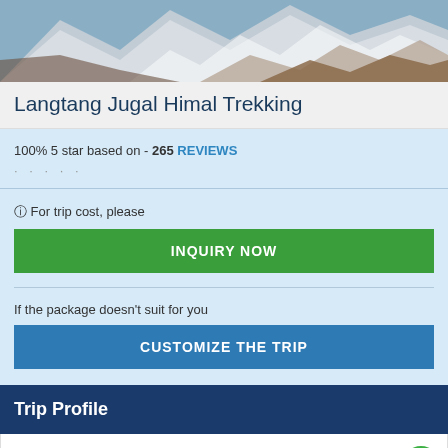[Figure (photo): Mountain landscape with snow-capped peaks and rocky terrain, partially visible at top of page]
Langtang Jugal Himal Trekking
100% 5 star based on - 265 REVIEWS
· · · · ·
ⓘ For trip cost, please
INQUIRY NOW
If the package doesn't suit for you
CUSTOMIZE THE TRIP
Trip Profile
Trekking duration: 18 / 20/ 22 days